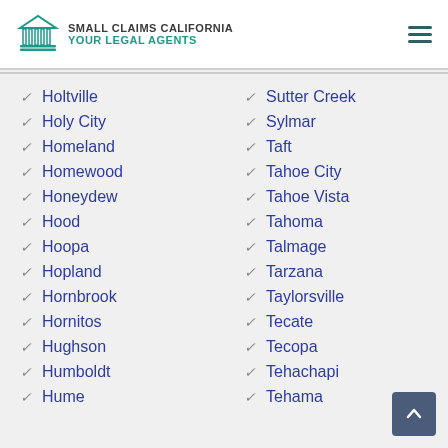Small Claims California — Your Legal Agents
Holtville
Holy City
Homeland
Homewood
Honeydew
Hood
Hoopa
Hopland
Hornbrook
Hornitos
Hughson
Humboldt
Hume
Sutter Creek
Sylmar
Taft
Tahoe City
Tahoe Vista
Tahoma
Talmage
Tarzana
Taylorsville
Tecate
Tecopa
Tehachapi
Tehama